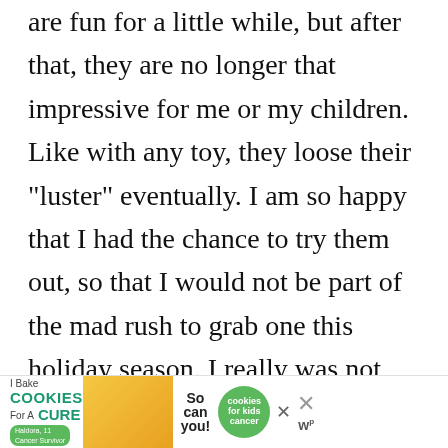are fun for a little while, but after that, they are no longer that impressive for me or my children. Like with any toy, they loose their “luster” eventually. I am so happy that I had the chance to try them out, so that I would not be part of the mad rush to grab one this holiday season. I really was not impressed with them,
[Figure (other): Advertisement banner: 'I Bake COOKIES For A CURE' with photo of girl Haldora, 11 Cancer Survivor, text 'So can you!' with green cookies for kids cancer badge, and close buttons]